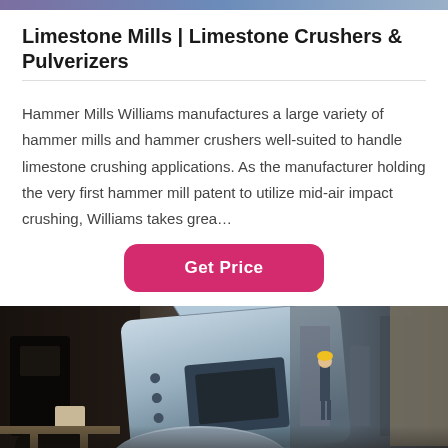Limestone Mills | Limestone Crushers & Pulverizers
Hammer Mills Williams manufactures a large variety of hammer mills and hammer crushers well-suited to handle limestone crushing applications. As the manufacturer holding the very first hammer mill patent to utilize mid-air impact crushing, Williams takes grea…
Get Price
[Figure (photo): Industrial machinery scene showing a large limestone crusher/hammer mill in a factory setting with a worker in the background]
Leave Message
Chat Online